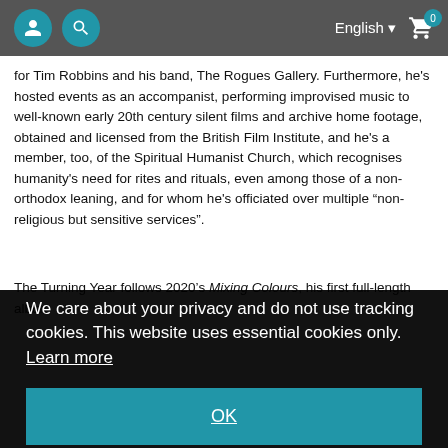English  🛒 0
for Tim Robbins and his band, The Rogues Gallery. Furthermore, he's hosted events as an accompanist, performing improvised music to well-known early 20th century silent films and archive home footage, obtained and licensed from the British Film Institute, and he's a member, too, of the Spiritual Humanist Church, which recognises humanity's need for rites and rituals, even among those of a non-orthodox leaning, and for whom he's officiated over multiple “non-religious but sensitive services”.
The Turning Year follows 2020’s Mixing Colours, his first full-length album ... ger had ... with his ... month that ... ne a staple
[Figure (screenshot): Privacy consent popup overlay with dark background. Text reads: 'We care about your privacy and do not use tracking cookies. This website uses essential cookies only. Learn more'. Below is a blue OK button.]
...been ... he ... ecily and Brian’s regular collaborators, Leo Abrahams and Peter Chilvers. In the